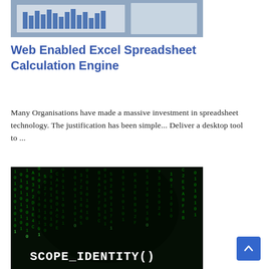[Figure (photo): Photo of printed Excel spreadsheet charts and graphs on paper, top portion visible]
Web Enabled Excel Spreadsheet Calculation Engine
Many Organisations have made a massive investment in spreadsheet technology. The justification has been simple... Deliver a desktop tool to ...
[Figure (photo): Dark matrix-style image with green cascading code/numbers and text 'SCOPE_IDENTITY()' in white at the bottom]